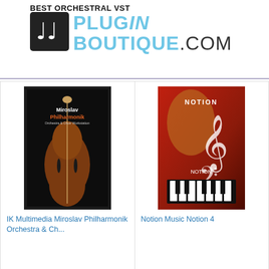BEST ORCHESTRAL VST
[Figure (logo): Plugin Boutique .com logo with music note icon]
[Figure (screenshot): Amazon ad widget showing two products: IK Multimedia Miroslav Philharmonik Orchestra & Ch... rated 3.5 stars (22 reviews) and Notion Music Notion 4 rated 3 stars (16 reviews)]
[Figure (infographic): Loopmasters.com banner ad with blue background, headphones imagery, text CLICK HERE LOOPMASTERS.COM]
Learn Computer Music